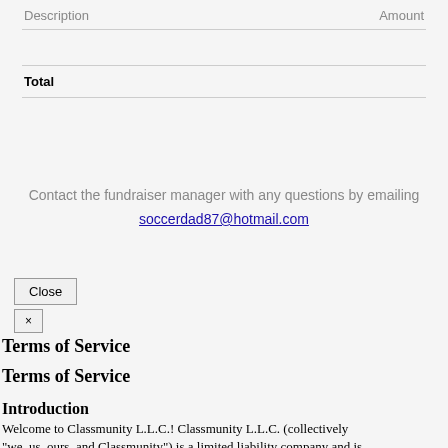| Description | Amount |
| --- | --- |
|  |  |
| Total |  |
Contact the fundraiser manager with any questions by emailing soccerdad87@hotmail.com
Close
×
Terms of Service
Terms of Service
Introduction
Welcome to Classmunity L.L.C.! Classmunity L.L.C. (collectively "we, us, ours, and Classmunity") is a limited liability company and is registered in the state of Wisconsin. The "Terms of Use" at...